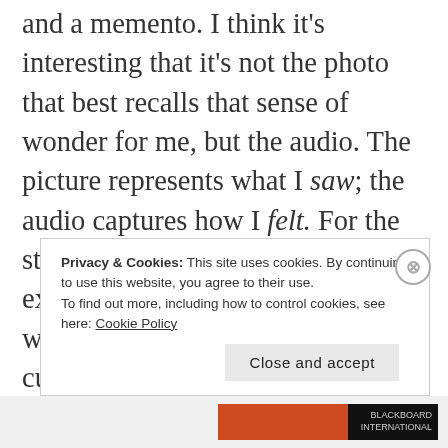and a memento. I think it's interesting that it's not the photo that best recalls that sense of wonder for me, but the audio. The picture represents what I saw; the audio captures how I felt. For the story, I felt that both the experience and its recollection were important, along with the curious modern impulse to interpose devices between ourselves and a wonder in hopes of being able to re-experience it at will. And, of course, the power of an experience shared was
Privacy & Cookies: This site uses cookies. By continuing to use this website, you agree to their use. To find out more, including how to control cookies, see here: Cookie Policy